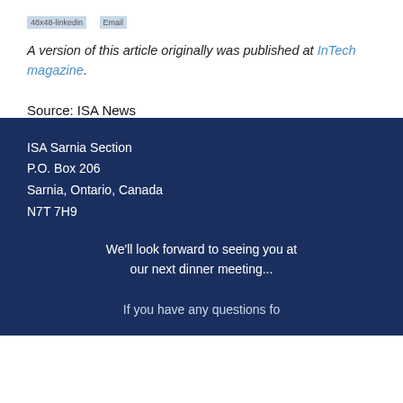[Figure (other): Social media icon placeholders: 48x48-linkedin and Email]
A version of this article originally was published at InTech magazine.
Source: ISA News
ISA Sarnia Section
P.O. Box 206
Sarnia, Ontario, Canada
N7T 7H9

We'll look forward to seeing you at our next dinner meeting...

If you have any questions for